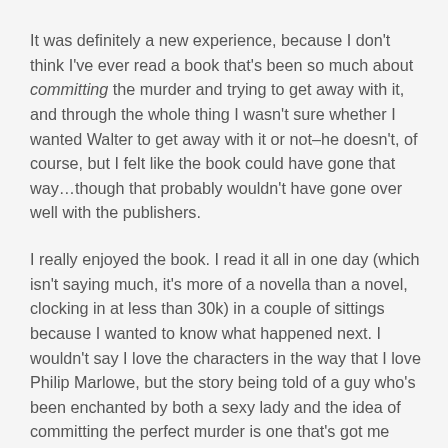It was definitely a new experience, because I don't think I've ever read a book that's been so much about committing the murder and trying to get away with it, and through the whole thing I wasn't sure whether I wanted Walter to get away with it or not–he doesn't, of course, but I felt like the book could have gone that way…though that probably wouldn't have gone over well with the publishers.
I really enjoyed the book. I read it all in one day (which isn't saying much, it's more of a novella than a novel, clocking in at less than 30k) in a couple of sittings because I wanted to know what happened next. I wouldn't say I love the characters in the way that I love Philip Marlowe, but the story being told of a guy who's been enchanted by both a sexy lady and the idea of committing the perfect murder is one that's got me interested.